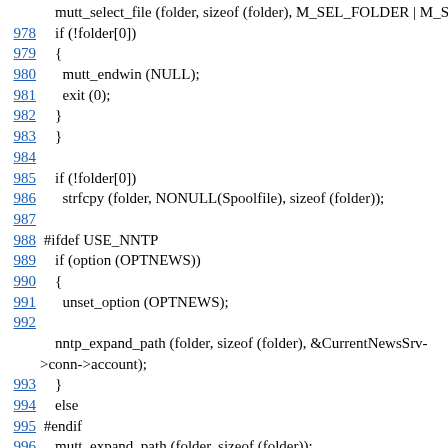mutt_select_file (folder, sizeof (folder), M_SEL_FOLDER | M_S
978    if (!folder[0])
979    {
980      mutt_endwin (NULL);
981      exit (0);
982    }
983    }
984
985    if (!folder[0])
986      strfcpy (folder, NONULL(Spoolfile), sizeof (folder));
987
988 #ifdef USE_NNTP
989    if (option (OPTNEWS))
990    {
991      unset_option (OPTNEWS);
992
nntp_expand_path (folder, sizeof (folder), &CurrentNewsSrv->conn->account);
993    }
994    else
995 #endif
996    mutt_expand_path (folder, sizeof (folder));
997
998    mutt_str_replace (&LastFolder, folder);
999